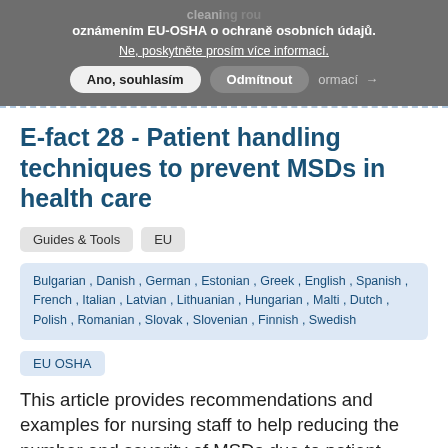oznámením EU-OSHA o ochraně osobních údajů. Ne, poskytněte prosím více informací. Ano, souhlasím  Odmítnout  ormací →
E-fact 28 - Patient handling techniques to prevent MSDs in health care
Guides & Tools   EU
Bulgarian , Danish , German , Estonian , Greek , English , Spanish , French , Italian , Latvian , Lithuanian , Hungarian , Malti , Dutch , Polish , Romanian , Slovak , Slovenian , Finnish , Swedish
EU OSHA
This article provides recommendations and examples for nursing staff to help reducing the number and severity of MSDs due to patient handling.